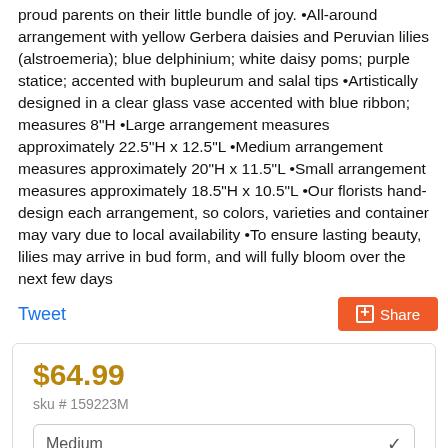proud parents on their little bundle of joy. •All-around arrangement with yellow Gerbera daisies and Peruvian lilies (alstroemeria); blue delphinium; white daisy poms; purple statice; accented with bupleurum and salal tips •Artistically designed in a clear glass vase accented with blue ribbon; measures 8"H •Large arrangement measures approximately 22.5"H x 12.5"L •Medium arrangement measures approximately 20"H x 11.5"L •Small arrangement measures approximately 18.5"H x 10.5"L •Our florists hand-design each arrangement, so colors, varieties and container may vary due to local availability •To ensure lasting beauty, lilies may arrive in bud form, and will fully bloom over the next few days
Tweet
Share
$64.99
sku # 159223M
Medium